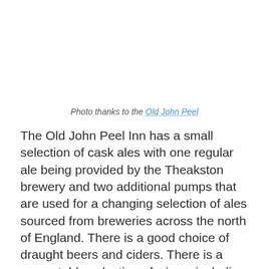Photo thanks to the Old John Peel
The Old John Peel Inn has a small selection of cask ales with one regular ale being provided by the Theakston brewery and two additional pumps that are used for a changing selection of ales sourced from breweries across the north of England. There is a good choice of draught beers and ciders. There is a respectable selection of wines, including a delightful mulled wine during the winter months and for gin lovers there is a dedicated menu that includes some locally distilled brands.
Food is served daily at the Old John Peel Inn between noon and 9pm. The menu is fairly extensive with a good choice of lighter options, including filled rolls and jacket